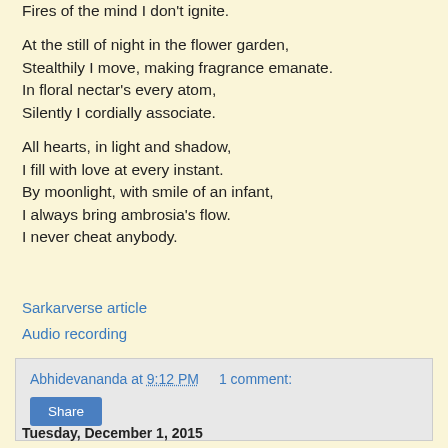Fires of the mind I don't ignite.

At the still of night in the flower garden,
Stealthily I move, making fragrance emanate.
In floral nectar's every atom,
Silently I cordially associate.

All hearts, in light and shadow,
I fill with love at every instant.
By moonlight, with smile of an infant,
I always bring ambrosia's flow.
I never cheat anybody.
Sarkarverse article
Audio recording
Abhidevananda at 9:12 PM   1 comment:
Share
Tuesday, December 1, 2015